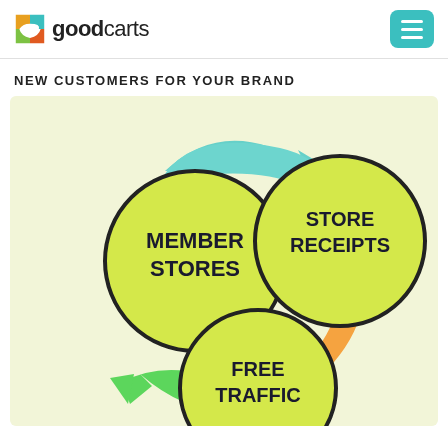goodcarts
NEW CUSTOMERS FOR YOUR BRAND
[Figure (infographic): Circular flow diagram showing three yellow circles connected by colored arrows: 'MEMBER STORES' (left, teal arrow pointing right at top), 'STORE RECEIPTS' (right, orange arrow pointing down-left), and 'FREE TRAFFIC' (bottom center, green arrow pointing left/up). Background is light yellow-green. The cycle shows how member stores generate store receipts which generate free traffic which feeds back to member stores.]